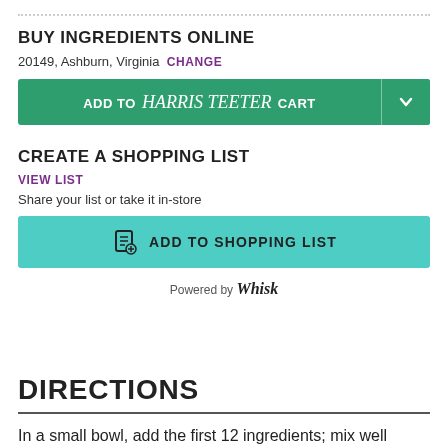BUY INGREDIENTS ONLINE
20149, Ashburn, Virginia  CHANGE
[Figure (other): Green 'ADD TO Harris Teeter CART' button with dropdown arrow]
CREATE A SHOPPING LIST
VIEW LIST
Share your list or take it in-store
[Figure (other): Teal 'ADD TO SHOPPING LIST' button with list icon]
Powered by Whisk
DIRECTIONS
In a small bowl, add the first 12 ingredients; mix well